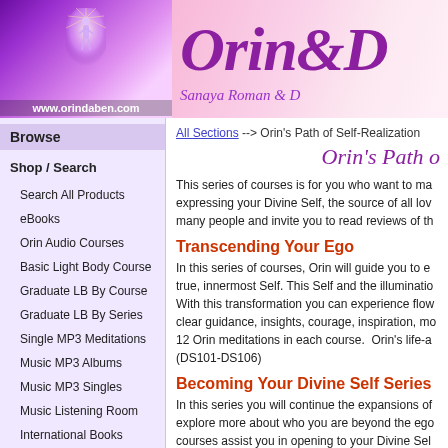[Figure (illustration): Website header banner with purple/pink gradient background showing a glowing figure and the Orin & DaBen logo with text 'www.orindaben.com' and 'Sanaya Roman & D...']
Browse
Shop / Search
Search All Products
eBooks
Orin Audio Courses
Basic Light Body Course
Graduate LB By Course
Graduate LB By Series
Single MP3 Meditations
Music MP3 Albums
Music MP3 Singles
Music Listening Room
International Books
All Sections --> Orin's Path of Self-Realization
Orin's Path o
This series of courses is for you who want to ma... expressing your Divine Self, the source of all lov... many people and invite you to read reviews of th...
Transcending Your Ego
In this series of courses, Orin will guide you to e... true, innermost Self. This Self and the illuminatio... With this transformation you can experience flow... clear guidance, insights, courage, inspiration, mo... 12 Orin meditations in each course. Orin's life-a... (DS101-DS106)
Becoming Your Divine Self Series
In this series you will continue the expansions of... explore more about who you are beyond the ego... courses assist you in opening to your Divine Sel... know who you are–a powerful, wise, and infinit...